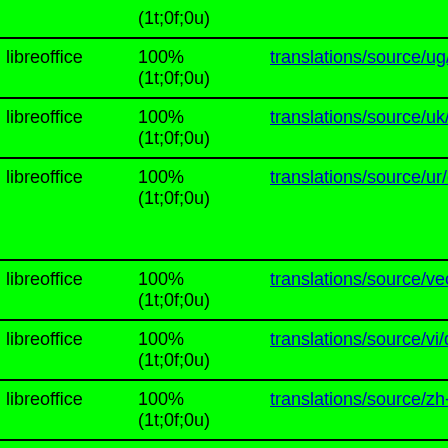|  |  |  |
| --- | --- | --- |
|  | (1t;0f;0u) | translations/source/ug/dictiona… |
| libreoffice | 100%
(1t;0f;0u) | translations/source/ug/dictiona… |
| libreoffice | 100%
(1t;0f;0u) | translations/source/uk/dictiona… |
| libreoffice | 100%
(1t;0f;0u) | translations/source/ur/dictiona… |
| libreoffice | 100%
(1t;0f;0u) | translations/source/vec/dictio… |
| libreoffice | 100%
(1t;0f;0u) | translations/source/vi/dictiona… |
| libreoffice | 100%
(1t;0f;0u) | translations/source/zh-CN/dict… |
| libreoffice | 100% | translations/source/zh-TW/dic… |